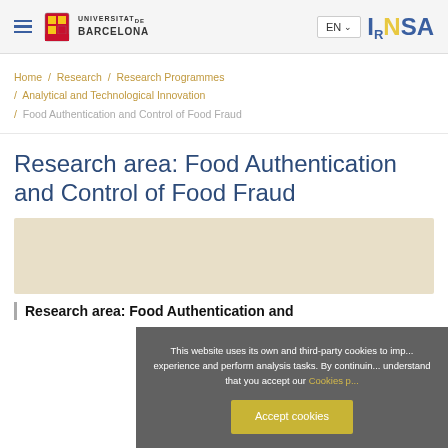Universitat de Barcelona | EN | INSA
Home / Research / Research Programmes / Analytical and Technological Innovation / Food Authentication and Control of Food Fraud
Research area: Food Authentication and Control of Food Fraud
[Figure (other): Beige/tan colored background content block area]
This website uses its own and third-party cookies to improve the experience and perform analysis tasks. By continuing to browse, you understand that you accept our Cookies policy
Accept cookies
Research area: Food Authentication and